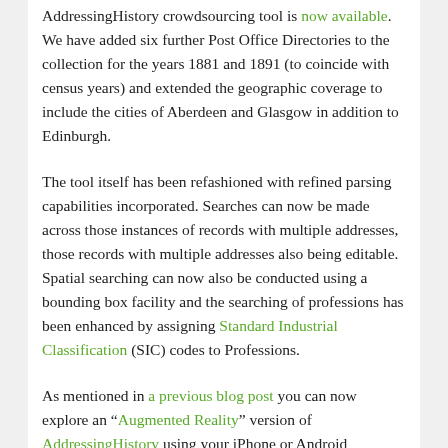AddressingHistory crowdsourcing tool is now available. We have added six further Post Office Directories to the collection for the years 1881 and 1891 (to coincide with census years) and extended the geographic coverage to include the cities of Aberdeen and Glasgow in addition to Edinburgh.
The tool itself has been refashioned with refined parsing capabilities incorporated. Searches can now be made across those instances of records with multiple addresses, those records with multiple addresses also being editable. Spatial searching can now also be conducted using a bounding box facility and the searching of professions has been enhanced by assigning Standard Industrial Classification (SIC) codes to Professions.
As mentioned in a previous blog post you can now explore an "Augmented Reality" version of AddressingHistory using your iPhone or Android device. Currently this is for Edinburgh only but plans are afoot to extend this to other geographies within the web tool.